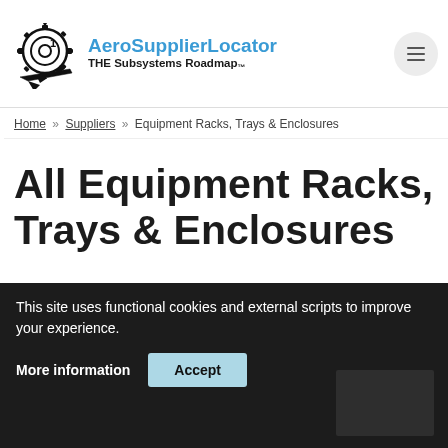AeroSupplierLocator — THE Subsystems Roadmap™
Home » Suppliers » Equipment Racks, Trays & Enclosures
All Equipment Racks, Trays & Enclosures
Component
This site uses functional cookies and external scripts to improve your experience.
More information  Accept